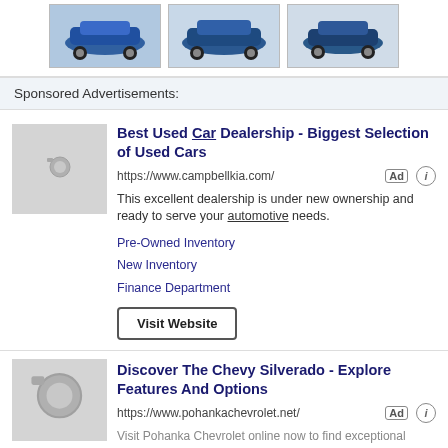[Figure (photo): Three thumbnail photos of blue cars]
Sponsored Advertisements:
[Figure (photo): Ad image placeholder with camera icon for Campbell Kia dealership]
Best Used Car Dealership - Biggest Selection of Used Cars
https://www.campbellkia.com/
This excellent dealership is under new ownership and ready to serve your automotive needs.
Pre-Owned Inventory
New Inventory
Finance Department
Visit Website
[Figure (photo): Ad image placeholder with camera icon for Pohanka Chevrolet]
Discover The Chevy Silverado - Explore Features And Options
https://www.pohankachevrolet.net/
Visit Pohanka Chevrolet online now to find exceptional deals on new Chevy Silverado 1500.